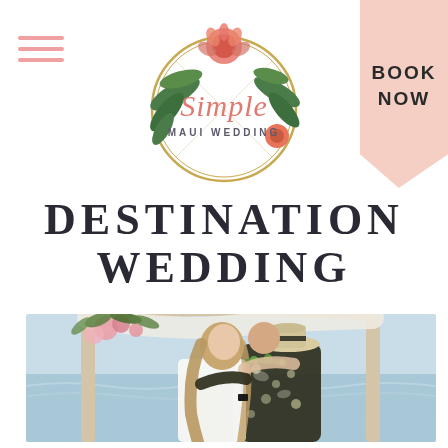[Figure (logo): Simple Maui Wedding logo: circular gold geometric frame with tropical flowers (protea, palm leaves, tropical fruit), script 'Simple' text in coral/pink, and 'MAUI WEDDING' in small caps beneath]
DESTINATION WEDDING
[Figure (photo): A couple kissing under a wooden arch decorated with pink flowers and tropical greenery on a beach in Maui. The groom wears a floral Hawaiian shirt and straw hat; the bride wears a white dress. Ocean waves visible in the background.]
BOOK NOW